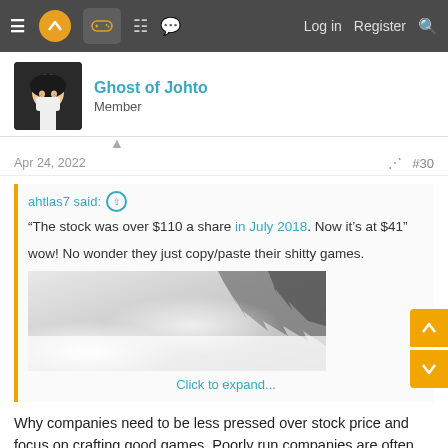≡  [logo]  [gamepad]  [grid]  [chat]   Log in   Register  🔍
Ghost of Johto
Member
Apr 24, 2022   #30
ahtlas7 said: ↑
"The stock was over $110 a share in July 2018. Now it's at $41"

wow! No wonder they just copy/paste their shitty games.
[image]
Click to expand...
Why companies need to be less pressed over stock price and focus on crafting good games. Poorly run companies are often held up by inflated valuations and little care over their intrinsic value.